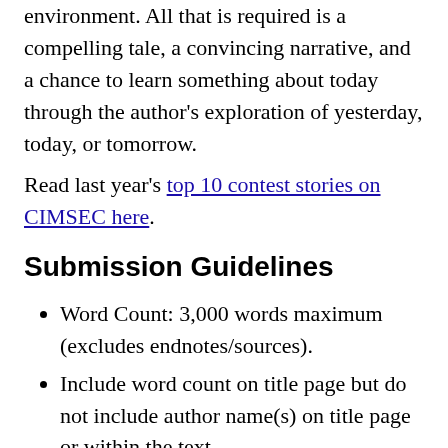environment. All that is required is a compelling tale, a convincing narrative, and a chance to learn something about today through the author’s exploration of yesterday, today, or tomorrow.
Read last year’s top 10 contest stories on CIMSEC here.
Submission Guidelines
Word Count: 3,000 words maximum (excludes endnotes/sources).
Include word count on title page but do not include author name(s) on title page or within the text.
Stories must be original and not previously published (online or in print) or being considered for publication elsewhere.
The contest is open to all contributors...